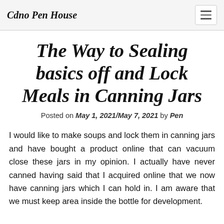Cdno Pen House
The Way to Sealing basics off and Lock Meals in Canning Jars
Posted on May 1, 2021/May 7, 2021 by Pen
I would like to make soups and lock them in canning jars and have bought a product online that can vacuum close these jars in my opinion. I actually have never canned having said that I acquired online that we now have canning jars which I can hold in. I am aware that we must keep area inside the bottle for development.